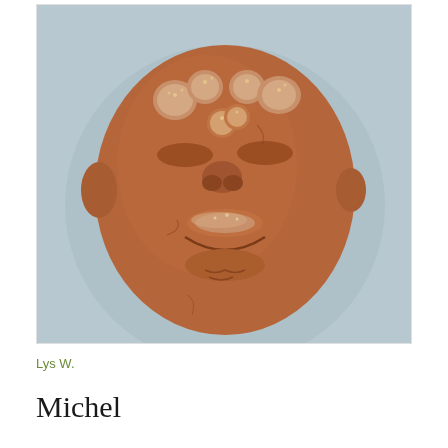[Figure (photo): A clay sculpture of a human face with raised bumpy features for eyes, nose, and lips, made from terracotta-colored clay, photographed against a light gray/blue background.]
Lys W.
Michel